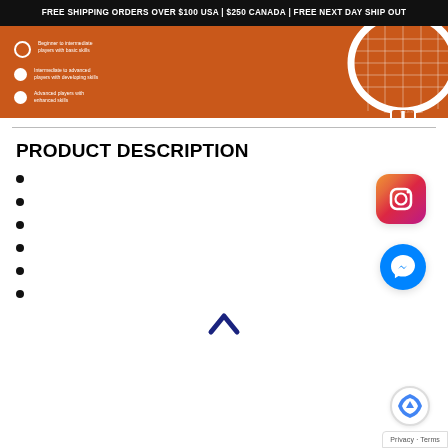FREE SHIPPING ORDERS OVER $100 USA | $250 CANADA | FREE NEXT DAY SHIP OUT
[Figure (illustration): Orange banner with tennis racket graphic and skill level bullet points (beginner to intermediate players with basic skills; intermediate to advanced players with developing skills; advanced players with enhanced skills)]
PRODUCT DESCRIPTION